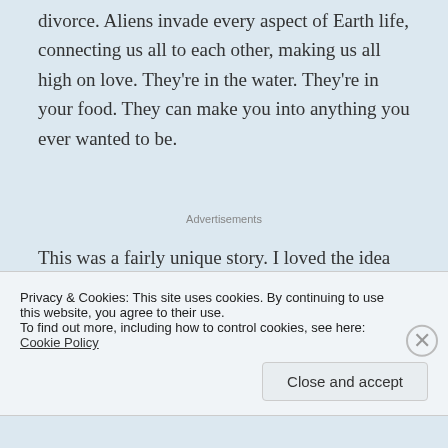divorce.  Aliens invade every aspect of Earth life, connecting us all to each other, making us all high on love.  They're in the water.  They're in your food.  They can make you into anything you ever wanted to be.
Advertisements
This was a fairly unique story.  I loved the idea of benevolent aliens who've come to “help.”  It's not really an idea I come across often.  The word invasion typically has a negative connotation.  The Soon ushers in a new era...
Privacy & Cookies: This site uses cookies. By continuing to use this website, you agree to their use.
To find out more, including how to control cookies, see here: Cookie Policy
Close and accept